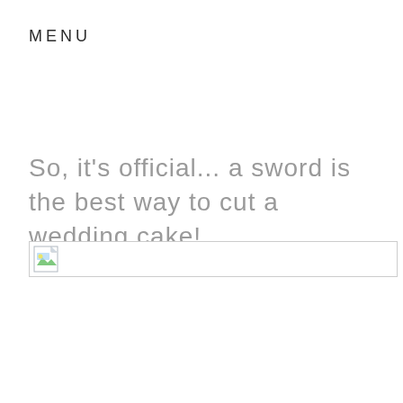MENU
So, it's official... a sword is the best way to cut a wedding cake!
[Figure (photo): Broken/missing image placeholder icon with border]